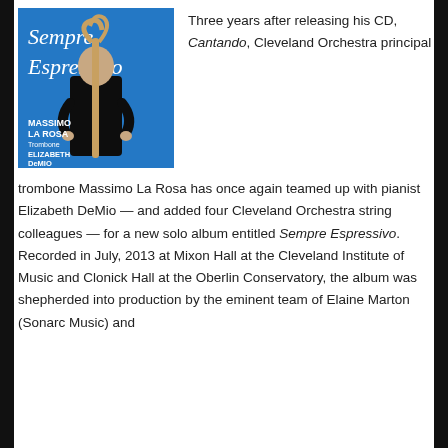[Figure (photo): Album cover for 'Sempre Espressivo' by Massimo La Rosa (Trombone) and Elizabeth DeMio (Piano). Blue background, man in black suit holding a trombone in front of his face, italic cursive text 'Sempre Espressivo' in white.]
Three years after releasing his CD, Cantando, Cleveland Orchestra principal trombone Massimo La Rosa has once again teamed up with pianist Elizabeth DeMio — and added four Cleveland Orchestra string colleagues — for a new solo album entitled Sempre Espressivo. Recorded in July, 2013 at Mixon Hall at the Cleveland Institute of Music and Clonick Hall at the Oberlin Conservatory, the album was shepherded into production by the eminent team of Elaine Marton (Sonarc Music) and